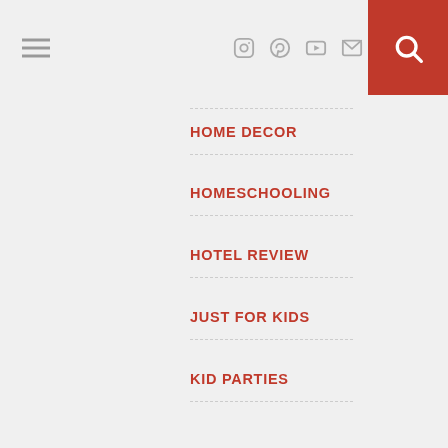Navigation menu with hamburger icon, social icons (Instagram, Pinterest, YouTube, Email), and search button
HOME DECOR
HOMESCHOOLING
HOTEL REVIEW
JUST FOR KIDS
KID PARTIES
KID-FRIENDLY ACTIVITIES
KIDS TOYS
MOM TIPS
MOTHERHOOD
NORTH AMERICA
ORGANIZING
RENOVATIONS